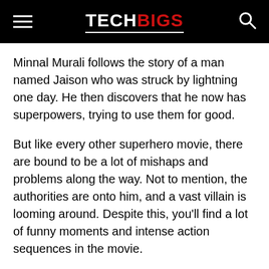TECHBIGS
Minnal Murali follows the story of a man named Jaison who was struck by lightning one day. He then discovers that he now has superpowers, trying to use them for good.
But like every other superhero movie, there are bound to be a lot of mishaps and problems along the way. Not to mention, the authorities are onto him, and a vast villain is looming around. Despite this, you'll find a lot of funny moments and intense action sequences in the movie.
Since the movie is on Netflix, you can enjoy a top-tier production quality with this movie. The production was made by talented and award-winning directors, producers, and